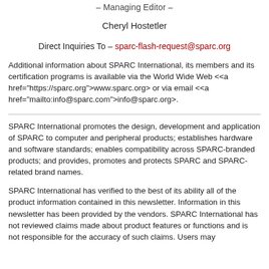– Managing Editor –
Cheryl Hostetler
Direct Inquiries To – sparc-flash-request@sparc.org
Additional information about SPARC International, its members and its certification programs is available via the World Wide Web <<a href="https://sparc.org">www.sparc.org> or via email <<a href="mailto:info@sparc.com">info@sparc.org>.
SPARC International promotes the design, development and application of SPARC to computer and peripheral products; establishes hardware and software standards; enables compatibility across SPARC-branded products; and provides, promotes and protects SPARC and SPARC-related brand names.
SPARC International has verified to the best of its ability all of the product information contained in this newsletter. Information in this newsletter has been provided by the vendors. SPARC International has not reviewed claims made about product features or functions and is not responsible for the accuracy of such claims. Users may